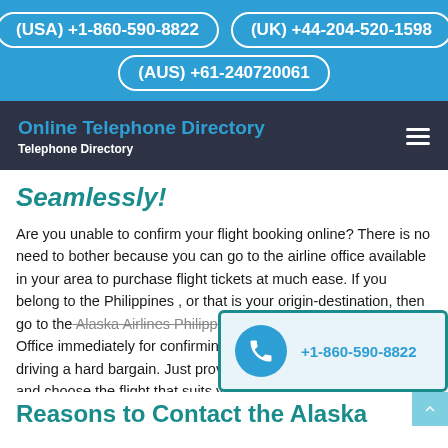(USA) +1-860-590-8822   (UK) +44-204-520-1598   (AUS) +61-240720061
Online Telephone Directory
Telephone Directory
Seamlessly!
Are you unable to confirm your flight booking online? There is no need to bother because you can go to the airline office available in your area to purchase flight tickets at much ease. If you belong to the Philippines , or that is your origin-destination, then go to the Alaska Airlines Philippines Office immediately for confirming driving a hard bargain. Just provide and choose the flight that suits y
[Figure (infographic): Floating phone contact popup showing a blue circle phone icon and number +1-860-590-8822 on a light blue background with teal border]
Reasons to Contact the Alaska